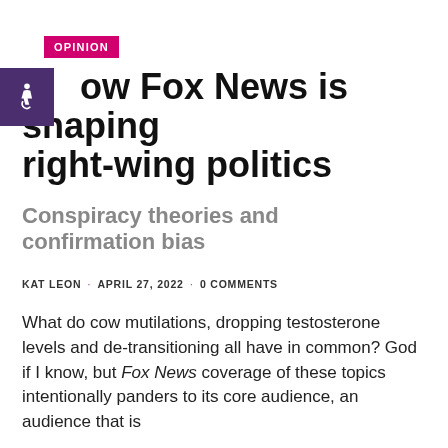OPINION
How Fox News is shaping right-wing politics
Conspiracy theories and confirmation bias
KAT LEON · APRIL 27, 2022 · 0 COMMENTS
What do cow mutilations, dropping testosterone levels and de-transitioning all have in common? God if I know, but Fox News coverage of these topics intentionally panders to its core audience, an audience that is